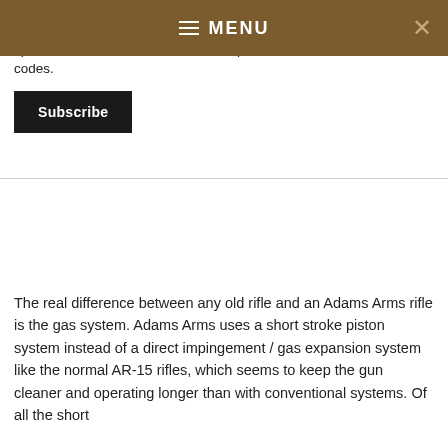≡  MENU
Become one of our Insiders and receive special sale notices and valuable coupon codes.
Subscribe
The real difference between any old rifle and an Adams Arms rifle is the gas system. Adams Arms uses a short stroke piston system instead of a direct impingement / gas expansion system like the normal AR-15 rifles, which seems to keep the gun cleaner and operating longer than with conventional systems. Of all the short